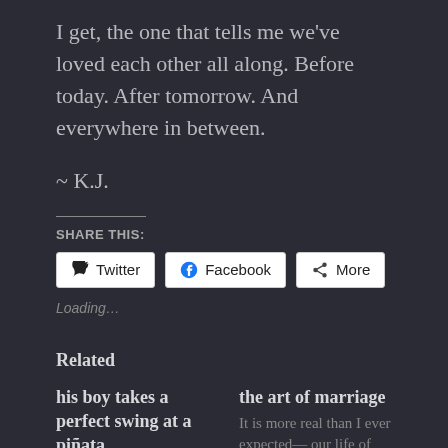I get, the one that tells me we've loved each other all along. Before today. After tomorrow. And everywhere in between.
~ K.J.
Share This:
Loading...
Related
his boy takes a perfect swing at a piñata
My son is eight, but looking like he's
the art of marriage
It is more real than I ever expected— our life of keeping kids